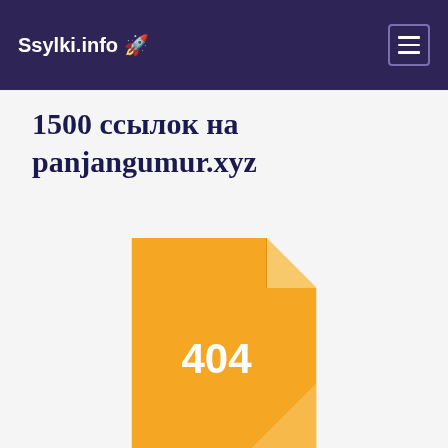Ssylki.info 🚀
1500 ссылок на panjangumur.xyz
[Figure (illustration): Yellow document/file icon with a folded corner and the text '404' displayed in white on the center of the document.]